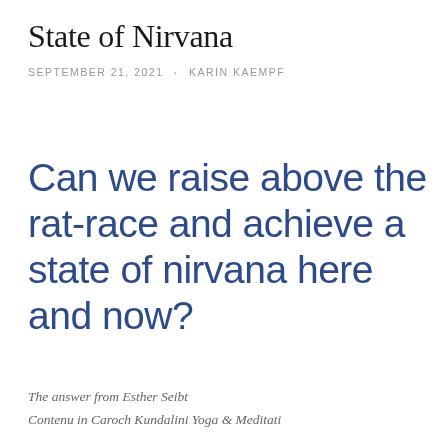State of Nirvana
SEPTEMBER 21, 2021 · KARIN KAEMPF
Can we raise above the rat-race and achieve a state of nirvana here and now?
The answer from Esther Seibt
Contenu in Caroch Kundalini Yoga & Meditation